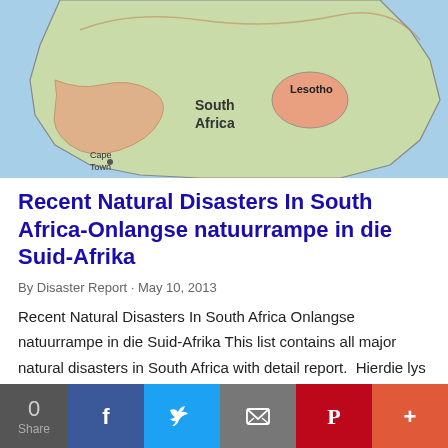[Figure (map): Map of South Africa showing country outline with Lesotho highlighted, Cape Town labeled in southwest, and South Africa label in center]
Recent Natural Disasters In South Africa-Onlangse natuurrampe in die Suid-Afrika
By Disaster Report · May 10, 2013
Recent Natural Disasters In South Africa Onlangse natuurrampe in die Suid-Afrika This list contains all major natural disasters in South Africa with detail report.  Hierdie lys bevat al die belangrikste natuurlike rampe in Suid-Afrika met die detail …